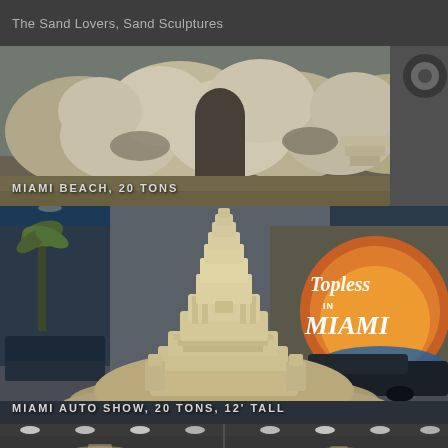The Sand Lovers, Sand Sculptures
[Figure (photo): Sand sculpture at Miami Beach, large stone-like rock formation with arch/tunnel, 20 tons]
MIAMI BEACH, 20 TONS
[Figure (photo): Sand sculpture of a tall castle/pyramid at the Miami Auto Show, 20 tons and 12 feet tall, with Topless in Miami sign in the background and palm trees]
MIAMI AUTO SHOW, 20 TONS, 12' TALL
[Figure (photo): Bottom strip showing another sand sculpture display in an indoor venue with ceiling lights]